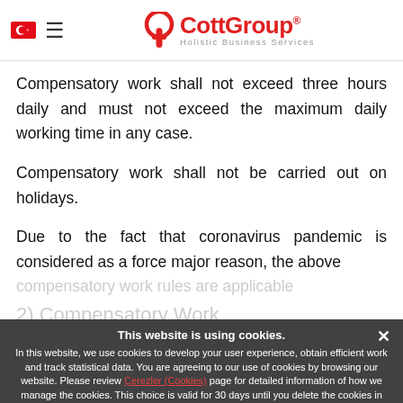CottGroup — Holistic Business Services
Compensatory work shall not exceed three hours daily and must not exceed the maximum daily working time in any case.
Compensatory work shall not be carried out on holidays.
Due to the fact that coronavirus pandemic is considered as a force major reason, the above compensatory work rules are applicable
2) Compensatory Work
This website is using cookies. In this website, we use cookies to develop your user experience, obtain efficient work and track statistical data. You are agreeing to our use of cookies by browsing our website. Please review Çerezler (Cookies) page for detailed information of how we manage the cookies. This choice is valid for 30 days until you delete the cookies in your web browser.